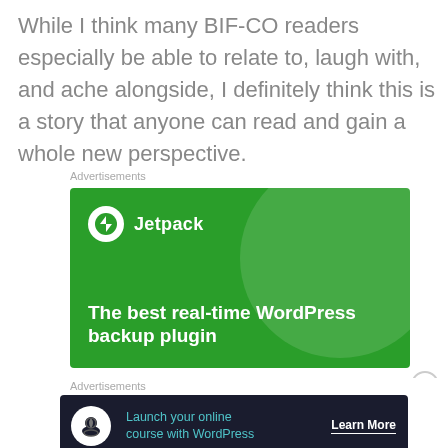While I think many BIF-CO readers especially be able to relate to, laugh with, and ache alongside, I definitely think this is a story that anyone can read and gain a whole new perspective.
[Figure (other): Jetpack advertisement banner with green background, showing Jetpack logo and tagline 'The best real-time WordPress backup plugin']
[Figure (other): Dark advertisement banner: 'Launch your online course with WordPress' with Learn More button]